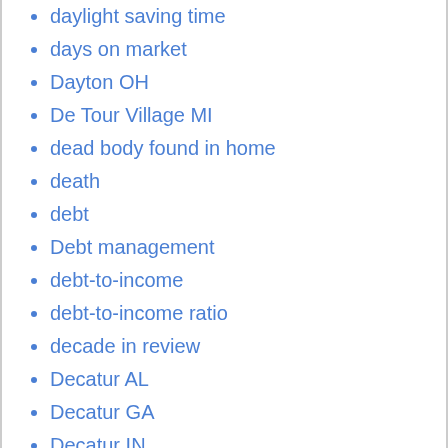daylight saving time
days on market
Dayton OH
De Tour Village MI
dead body found in home
death
debt
Debt management
debt-to-income
debt-to-income ratio
decade in review
Decatur AL
Decatur GA
Decatur IN
Decision Maker Content
decisionmaker
deck
decks
declining home value